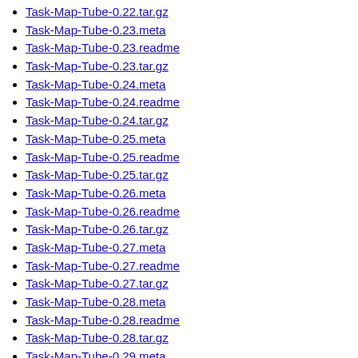Task-Map-Tube-0.22.tar.gz
Task-Map-Tube-0.23.meta
Task-Map-Tube-0.23.readme
Task-Map-Tube-0.23.tar.gz
Task-Map-Tube-0.24.meta
Task-Map-Tube-0.24.readme
Task-Map-Tube-0.24.tar.gz
Task-Map-Tube-0.25.meta
Task-Map-Tube-0.25.readme
Task-Map-Tube-0.25.tar.gz
Task-Map-Tube-0.26.meta
Task-Map-Tube-0.26.readme
Task-Map-Tube-0.26.tar.gz
Task-Map-Tube-0.27.meta
Task-Map-Tube-0.27.readme
Task-Map-Tube-0.27.tar.gz
Task-Map-Tube-0.28.meta
Task-Map-Tube-0.28.readme
Task-Map-Tube-0.28.tar.gz
Task-Map-Tube-0.29.meta
Task-Map-Tube-0.29.readme
Task-Map-Tube-0.29.tar.gz
Task-Map-Tube-0.30.meta
Task-Map-Tube-0.30.readme
Task-Map-Tube-0.30.tar.gz